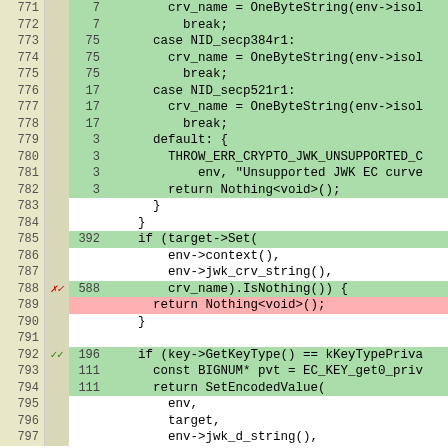[Figure (screenshot): Code diff/coverage view showing lines 771-797 of source code with line numbers, coverage counts, and colored backgrounds indicating covered (green), uncovered (pink), and neutral (white) lines.]